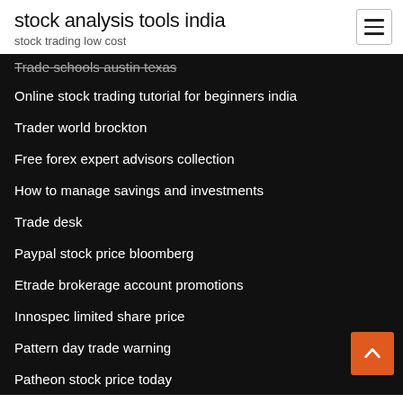stock analysis tools india
stock trading low cost
Trade schools austin texas
Online stock trading tutorial for beginners india
Trader world brockton
Free forex expert advisors collection
How to manage savings and investments
Trade desk
Paypal stock price bloomberg
Etrade brokerage account promotions
Innospec limited share price
Pattern day trade warning
Patheon stock price today